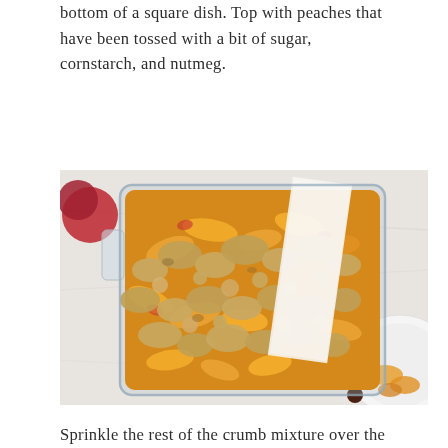bottom of a square dish. Top with peaches that have been tossed with a bit of sugar, cornstarch, and nutmeg.
[Figure (photo): Overhead view of a square glass baking dish containing sliced peaches topped with a crumble mixture, on a marble surface with a white bowl of peaches and a whole peach visible.]
Sprinkle the rest of the crumb mixture over the